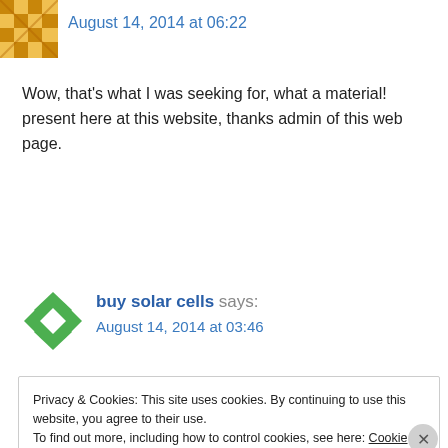[Figure (illustration): Golden/yellow geometric mosaic avatar icon, top left]
August 14, 2014 at 06:22
Wow, that's what I was seeking for, what a material! present here at this website, thanks admin of this web page.
REPLY
[Figure (illustration): Green diamond/rhombus geometric pattern avatar icon]
buy solar cells says:
August 14, 2014 at 03:46
Privacy & Cookies: This site uses cookies. By continuing to use this website, you agree to their use.
To find out more, including how to control cookies, see here: Cookie Policy
Close and accept